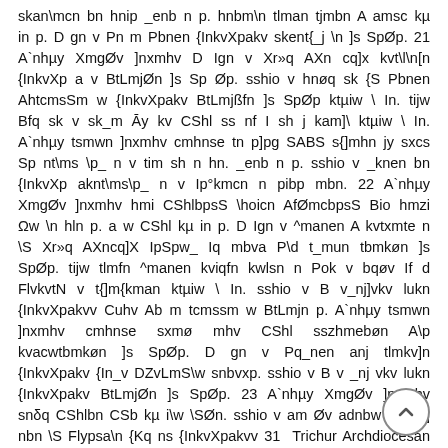skan\mcn bn hnip _enb n p. hnbm\n tlman tjmbn A amsc kµ in p. D gn v Pn m Pbnen {InkvXpakv skent{_j \n ]s SpØp. 21 A`nhµy XmgØv ]nxmhv D Ign v Xr»q AXn cq]x kvt\l\n[n {InkvXp a v BtLmjØn ]s Sp Øp. sshio v hnøq sk {S Pbnen AhtcmsSm w {InkvXpakv BtLmjßfn ]s SpØp ktµiw \ In. tijw Bfq sk v sk_m Āy kv CShl ss nf I sh j kam]\ ktµiw \ In. A`nhµy tsmwn ]nxmhv cmhnse tn p]pg SABS s{]mhn jy sxcs Sp nt\ms \p_ n v tim sh n hn. _enb n p. sshio v _knen bn {InkvXp aknt\ms\p_ n v Ip°kmcn n pibp mbn. 22 A`nhµy XmgØv ]nxmhv hmi CShlbpsS \hoicn AfØmcbpsS Bio hmzi Ωw \n hln p. a w CShl kµ in p. D Ign v ^manen A kvtxmte n \S Xr»q AXncq]X IpSpw_ Iq mbva P\d t_mun tbmkøn ]s SpØp. tijw tlmfn ^manen kviqfn kwlsn n Pok v bqøv If d FlvkvtN v t{]m{kman ktµiw \ In. sshio v B v_nj]vkv lukn {InkvXpakvv Cuhv Ab m tcmssm w BtLmjn p. A`nhµy tsmwn ]nxmhv cmhnse sxmø mhv CShl sszhmebøn A\p kvacwtbmkøn ]s SpØp. D gn v Pq_nen anj tlmkv]n {InkvXpakv {In_v DZvLmS\w snbvxp. sshio v B v _nj vkv lukn {InkvXpakv BtLmjØn ]s SpØp. 23 A`nhµy XmgØv ]nxmhv snδq CShlbn CSb kµ i\w \SØn. sshio v am Øv adnbw henb ] nbn \S Flypsa\n {Kq ns {InkvXpakvv 31 Trichur Archdiocesan Bulletin